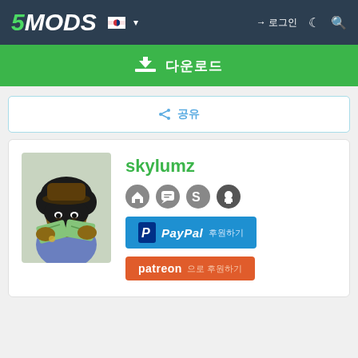5MODS
다운로드
공유
skylumz
[Figure (illustration): Profile avatar illustration of a character holding money with an afro hairstyle]
[Figure (logo): PayPal donate button - blue background with PayPal logo and Korean text]
[Figure (logo): Patreon support button - orange background with patreon text and Korean text]